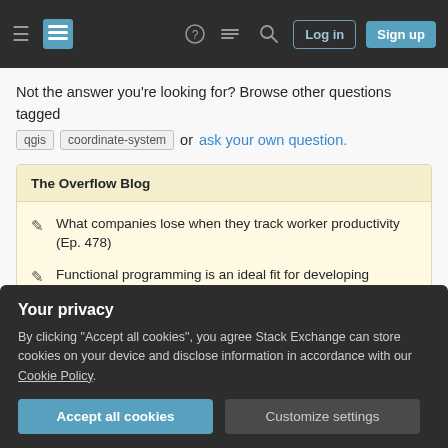Stack Exchange navigation bar with Log in and Sign up buttons
Not the answer you're looking for? Browse other questions tagged qgis coordinate-system or ask your own question.
The Overflow Blog
What companies lose when they track worker productivity (Ep. 478)
Functional programming is an ideal fit for developing blockchains
Featured on Meta
Your privacy
By clicking "Accept all cookies", you agree Stack Exchange can store cookies on your device and disclose information in accordance with our Cookie Policy.
Linked